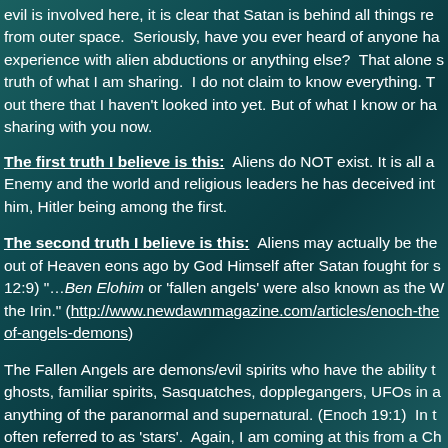evil is involved here, it is clear that Satan is behind all things related from outer space.  Seriously, have you ever heard of anyone having experience with alien abductions or anything else?  That alone speaks to the truth of what I am sharing.  I do not claim to know everything. There is stuff out there that I haven't looked into yet. But of what I know or have, I am sharing with you now.
The first truth I believe is this:  Aliens do NOT exist. It is all a lie of the Enemy and the world and religious leaders he has deceived into following him, Hitler being among the first.
The second truth I believe is this:  Aliens may actually be the ones cast out of Heaven eons ago by God Himself after Satan fought for supremacy. (Rev 12:9) "…Ben Elohim or 'fallen angels' were also known as the Watchers or the Irin." (http://www.newdawnmagazine.com/articles/enoch-the-book-of-angels-demons)
The Fallen Angels are demons/evil spirits who have the ability to appear as ghosts, familiar spirits, Sasquatches, dopplegangers, UFOs in appearance, anything of the paranormal and supernatural. (Enoch 19:1)  In the Bible they are often referred to as 'stars'.  Again, I am coming at this from a Christian slant so that New Age garbage and references to 'evolution' and 'higher consciousness' or hear about on radio talk shows or T.V. documentaries, is the Enemy's way of